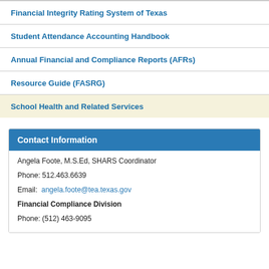Financial Integrity Rating System of Texas
Student Attendance Accounting Handbook
Annual Financial and Compliance Reports (AFRs)
Resource Guide (FASRG)
School Health and Related Services
Contact Information
Angela Foote, M.S.Ed, SHARS Coordinator
Phone: 512.463.6639
Email: angela.foote@tea.texas.gov
Financial Compliance Division
Phone: (512) 463-9095